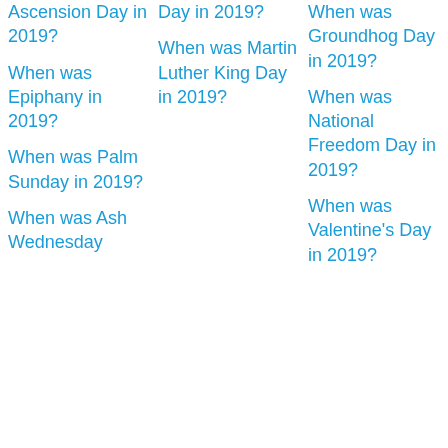Ascension Day in 2019?
When was Epiphany in 2019?
When was Palm Sunday in 2019?
When was Ash Wednesday in 2019?
Day in 2019?
When was Martin Luther King Day in 2019?
When was Groundhog Day in 2019?
When was National Freedom Day in 2019?
When was Valentine's Day in 2019?